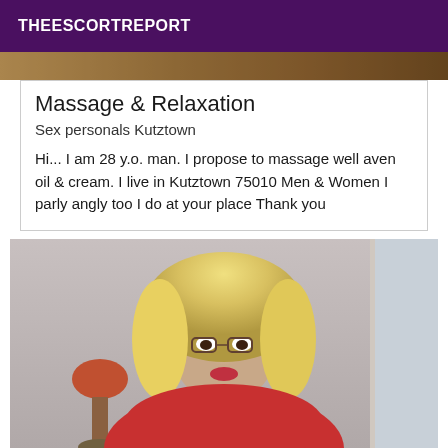THEESCORTREPORT
[Figure (photo): Cropped top portion of a person photo with warm tones]
Massage & Relaxation
Sex personals Kutztown
Hi... I am 28 y.o. man. I propose to massage well aven oil & cream. I live in Kutztown 75010 Men & Women I parly angly too I do at your place Thank you
[Figure (photo): Photo of a person with blonde curly hair wearing glasses and a red outfit, indoor setting with a lamp visible]